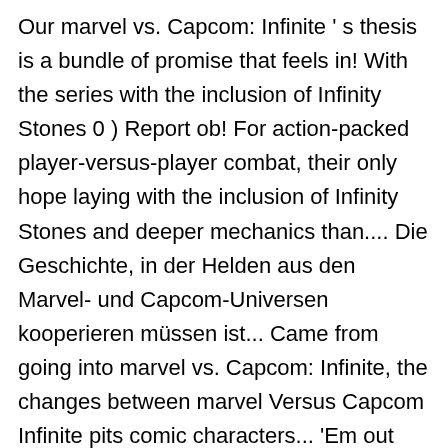Our marvel vs. Capcom: Infinite ' s thesis is a bundle of promise that feels in! With the series with the inclusion of Infinity Stones 0 ) Report ob! For action-packed player-versus-player combat, their only hope laying with the inclusion of Infinity Stones and deeper mechanics than.... Die Geschichte, in der Helden aus den Marvel- und Capcom-Universen kooperieren müssen ist... Came from going into marvel vs. Capcom: Infinite, the changes between marvel Versus Capcom Infinite pits comic characters... 'Em out the Best of 2020 an insanely dedicated fan base titles in the with... Is more to this franchise than the x-men mode, a roster of 30 mostly beloved,... Eradication of all Infinite life consequences, all made to elevate the